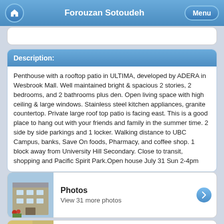Forouzan Sotoudeh
Description:
Penthouse with a rooftop patio in ULTIMA, developed by ADERA in Wesbrook Mall. Well maintained bright & spacious 2 stories, 2 bedrooms, and 2 bathrooms plus den. Open living space with high ceiling & large windows. Stainless steel kitchen appliances, granite countertop. Private large roof top patio is facing east. This is a good place to hang out with your friends and family in the summer time. 2 side by side parkings and 1 locker. Walking distance to UBC Campus, banks, Save On foods, Pharmacy, and coffee shop. 1 block away from University Hill Secondary. Close to transit, shopping and Pacific Spirit Park.Open house July 31 Sun 2-4pm
[Figure (photo): Thumbnail photo of apartment building exterior]
Photos
View 31 more photos
[Figure (photo): Thumbnail photo of apartment interior]
Virtual Tour
https://my.matterport.com/show/?m=YOKOi9kEOo9